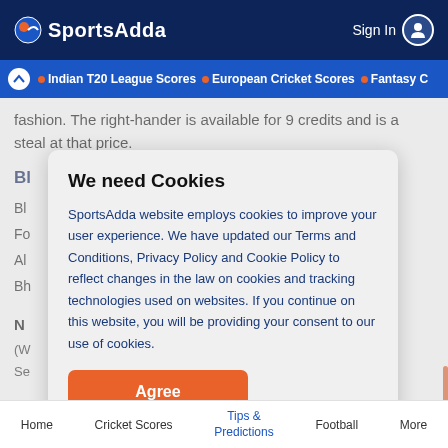SportsAdda  Sign In
Indian T20 League Scores • European Cricket Scores • Fantasy C
fashion. The right-hander is available for 9 credits and is a steal at that price.
Bl
Bl
Fo
Al
Bh
N
(W
Se
We need Cookies
SportsAdda website employs cookies to improve your user experience. We have updated our Terms and Conditions, Privacy Policy and Cookie Policy to reflect changes in the law on cookies and tracking technologies used on websites. If you continue on this website, you will be providing your consent to our use of cookies.
Agree
Home  Cricket Scores  Tips & Predictions  Football  More